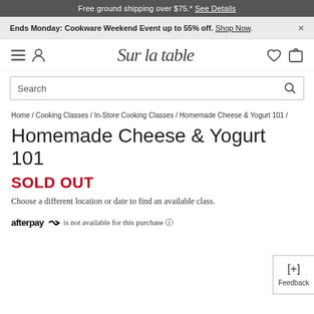Free ground shipping over $75.* See Details
Ends Monday: Cookware Weekend Event up to 55% off. Shop Now.
[Figure (logo): Sur la table script logo with hamburger menu, user icon, heart icon, and cart icon]
Search
Home / Cooking Classes / In-Store Cooking Classes / Homemade Cheese & Yogurt 101 /
Homemade Cheese & Yogurt 101
SOLD OUT
Choose a different location or date to find an available class.
afterpay is not available for this purchase ℹ